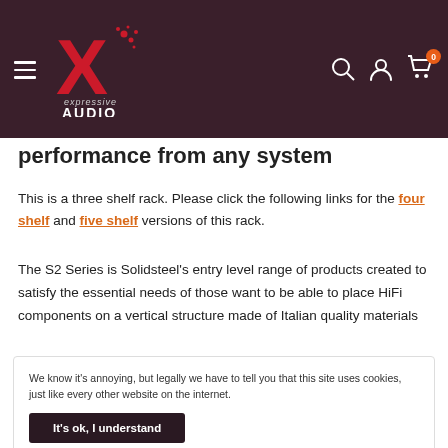Expressive Audio — navigation header with hamburger menu, logo, search, account, and cart icons
performance from any system
This is a three shelf rack. Please click the following links for the four shelf and five shelf versions of this rack.
The S2 Series is Solidsteel's entry level range of products created to satisfy the essential needs of those want to be able to place HiFi components on a vertical structure made of Italian quality materials
We know it's annoying, but legally we have to tell you that this site uses cookies, just like every other website on the internet.
It's ok, I understand
and rock-solid stability in an elegant design. Form follows function